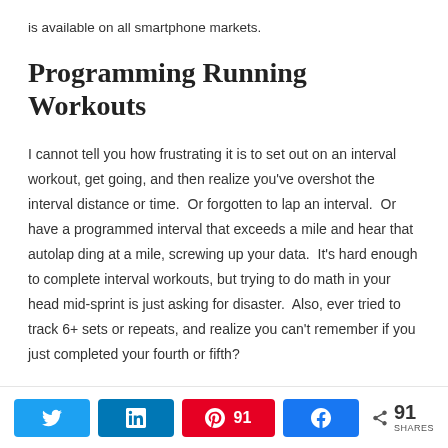is available on all smartphone markets.
Programming Running Workouts
I cannot tell you how frustrating it is to set out on an interval workout, get going, and then realize you’ve overshot the interval distance or time.  Or forgotten to lap an interval.  Or have a programmed interval that exceeds a mile and hear that autolap ding at a mile, screwing up your data.  It’s hard enough to complete interval workouts, but trying to do math in your head mid-sprint is just asking for disaster.  Also, ever tried to track 6+ sets or repeats, and realize you can’t remember if you just completed your fourth or fifth?
[Figure (infographic): Social sharing bar with Twitter, LinkedIn, Pinterest (91), and Facebook buttons, plus a share count of 91 SHARES]